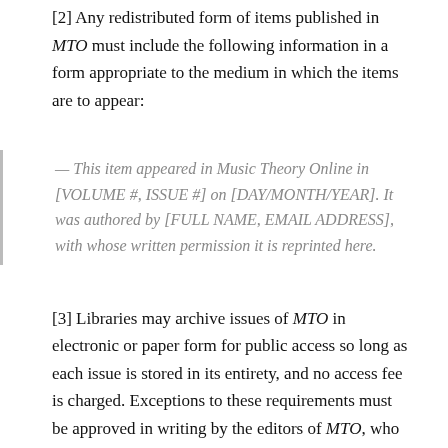[2] Any redistributed form of items published in MTO must include the following information in a form appropriate to the medium in which the items are to appear:
— This item appeared in Music Theory Online in [VOLUME #, ISSUE #] on [DAY/MONTH/YEAR]. It was authored by [FULL NAME, EMAIL ADDRESS], with whose written permission it is reprinted here.
[3] Libraries may archive issues of MTO in electronic or paper form for public access so long as each issue is stored in its entirety, and no access fee is charged. Exceptions to these requirements must be approved in writing by the editors of MTO, who will act in accordance with the decisions of the Society for Music Theory.